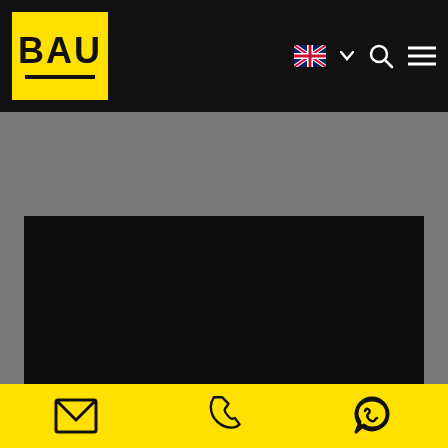[Figure (screenshot): BAU website navigation bar with yellow BAU logo on black background, UK flag language selector, search icon, and hamburger menu icon]
[Figure (screenshot): Black video player area with caption: Mr. Fiedler, Company Deiser from Kempten about BAU]
Mr. Fiedler, Company Deiser from Kempten about BAU
[Figure (screenshot): Second black video player area partially visible]
[Figure (screenshot): Yellow footer bar with email, phone, and WhatsApp icons]